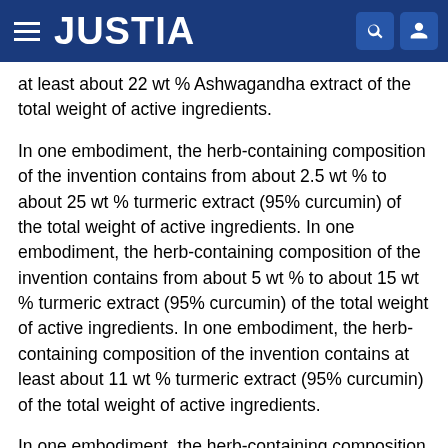JUSTIA
at least about 22 wt % Ashwagandha extract of the total weight of active ingredients.
In one embodiment, the herb-containing composition of the invention contains from about 2.5 wt % to about 25 wt % turmeric extract (95% curcumin) of the total weight of active ingredients. In one embodiment, the herb-containing composition of the invention contains from about 5 wt % to about 15 wt % turmeric extract (95% curcumin) of the total weight of active ingredients. In one embodiment, the herb-containing composition of the invention contains at least about 11 wt % turmeric extract (95% curcumin) of the total weight of active ingredients.
In one embodiment, the herb-containing composition of the invention contains from about 2.5 wt % to about 25 wt % turmeric extract (95% curcumin) of the total weight of active ingredients.